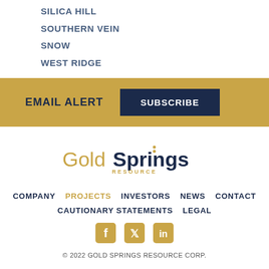SILICA HILL
SOUTHERN VEIN
SNOW
WEST RIDGE
EMAIL ALERT  SUBSCRIBE
[Figure (logo): Gold Springs Resource Corp logo — 'Gold' in gold/tan color, 'Springs' in dark navy bold with small spring/dot accent, 'RESOURCE' in small gold caps below]
COMPANY  PROJECTS  INVESTORS  NEWS  CONTACT  CAUTIONARY STATEMENTS  LEGAL
[Figure (other): Social media icons: Facebook, Twitter, LinkedIn in gold color]
© 2022 GOLD SPRINGS RESOURCE CORP.